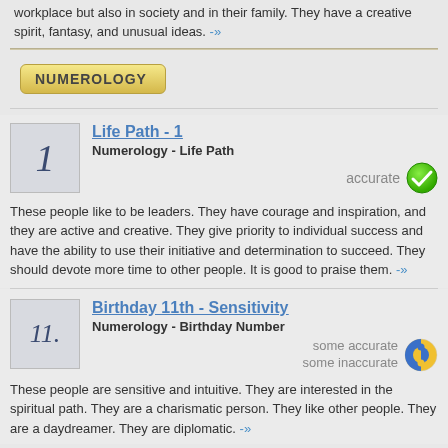workplace but also in society and in their family. They have a creative spirit, fantasy, and unusual ideas. -»
NUMEROLOGY
Life Path - 1
Numerology - Life Path
accurate
These people like to be leaders. They have courage and inspiration, and they are active and creative. They give priority to individual success and have the ability to use their initiative and determination to succeed. They should devote more time to other people. It is good to praise them. -»
Birthday 11th - Sensitivity
Numerology - Birthday Number
some accurate some inaccurate
These people are sensitive and intuitive. They are interested in the spiritual path. They are a charismatic person. They like other people. They are a daydreamer. They are diplomatic. -»